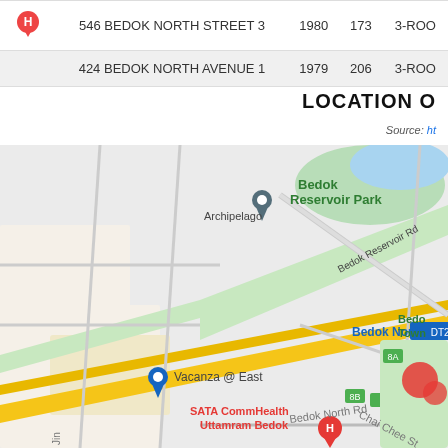|  | Address | Year | Units | Type |
| --- | --- | --- | --- | --- |
| H | 546 BEDOK NORTH STREET 3 | 1980 | 173 | 3-ROO... |
|  | 424 BEDOK NORTH AVENUE 1 | 1979 | 206 | 3-ROO... |
LOCATION O...
Source: ht...
[Figure (map): Google Maps view of Bedok North area showing Bedok Reservoir Park, Bedok North MRT (DT29), Vacanza @ East, SATA CommHealth Uttamram Bedok, Chai Chee St, and Bedok North Rd with surrounding residential blocks.]